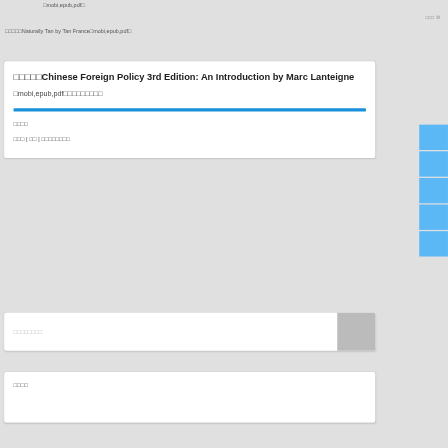□mobi,epub,pdf□
□□□ »
□□□□□Naturally Tan by Tan France□mobi,epub,pdf□
□□□□□Chinese Foreign Policy 3rd Edition: An Introduction by Marc Lanteigne □mobi,epub,pdf□□□□□□□□□
□□□□
□□□ [ □□ ] □□□□□□□□
□□□□□□□□
□□□□